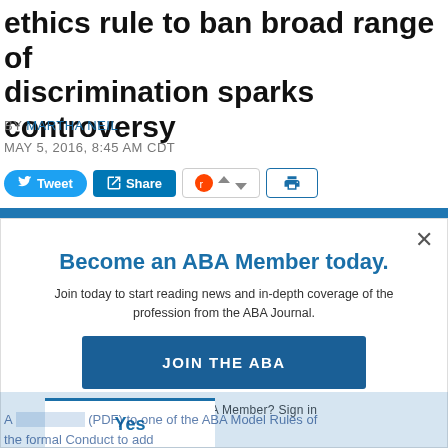ethics rule to ban broad range of discrimination sparks controversy
BY MARTHA NEIL
MAY 5, 2016, 8:45 AM CDT
[Figure (screenshot): Social sharing buttons: Tweet (Twitter), Share (LinkedIn), Reddit with upvote/downvote arrows, and a print button]
[Figure (screenshot): Modal overlay: Become an ABA Member today. Join today to start reading news and in-depth coverage of the profession from the ABA Journal. JOIN THE ABA button. Already an ABA Member? Sign in.]
A (PDF) to one of the ABA Model Rules of the formal Conduct to add...